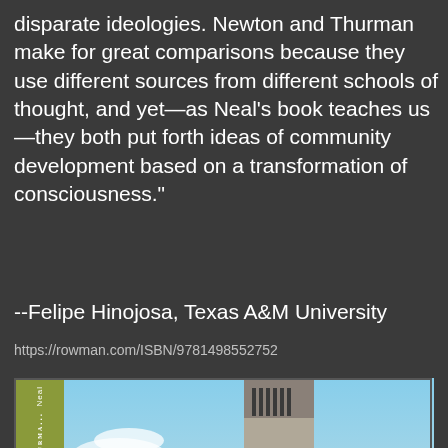disparate ideologies. Newton and Thurman make for great comparisons because they use different sources from different schools of thought, and yet—as Neal's book teaches us—they both put forth ideas of community development based on a transformation of consciousness."
--Felipe Hinojosa, Texas A&M University
https://rowman.com/ISBN/9781498552752
[Figure (photo): Book cover of Howard Thurman's work showing a tall clock/bell tower against a blue sky, with a green spine on the left side bearing the author name Neal and title Howard Thurman's, and a black title overlay box at the bottom center]